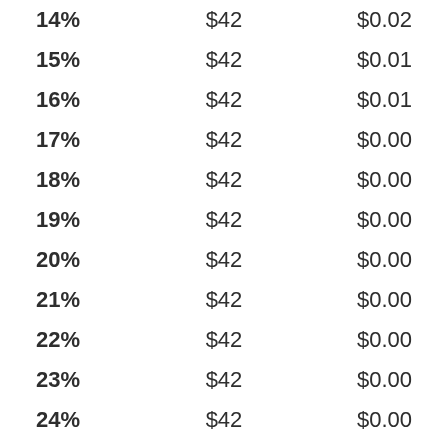| 14% | $42 | $0.02 |
| 15% | $42 | $0.01 |
| 16% | $42 | $0.01 |
| 17% | $42 | $0.00 |
| 18% | $42 | $0.00 |
| 19% | $42 | $0.00 |
| 20% | $42 | $0.00 |
| 21% | $42 | $0.00 |
| 22% | $42 | $0.00 |
| 23% | $42 | $0.00 |
| 24% | $42 | $0.00 |